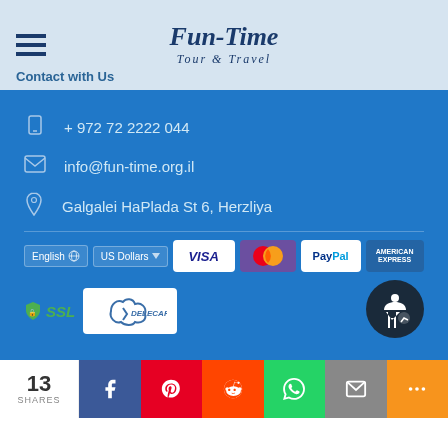[Figure (logo): Fun-Time Tour & Travel logo with hamburger menu icon]
Contact with Us
+ 972 72 2222 044
info@fun-time.org.il
Galgalei HaPlada St 6, Herzliya
[Figure (infographic): Payment methods: VISA, Mastercard, PayPal, American Express, SSL badge, Delecard, English/US Dollars selectors, accessibility icon]
13 SHARES  Facebook  Pinterest  Reddit  WhatsApp  Email  More